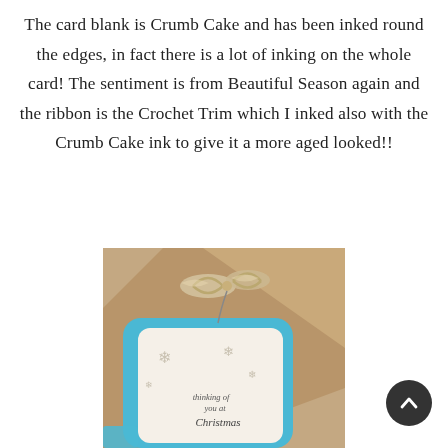The card blank is Crumb Cake and has been inked round the edges, in fact there is a lot of inking on the whole card! The sentiment is from Beautiful Season again and the ribbon is the Crochet Trim which I inked also with the Crumb Cake ink to give it a more aged looked!!
[Figure (photo): Close-up photo of a handmade Christmas card featuring a kraft paper background, a blue scalloped frame, a tag with snowflake stamps and the text 'thinking of you at Christmas', and a crochet lace ribbon tied in a bow.]